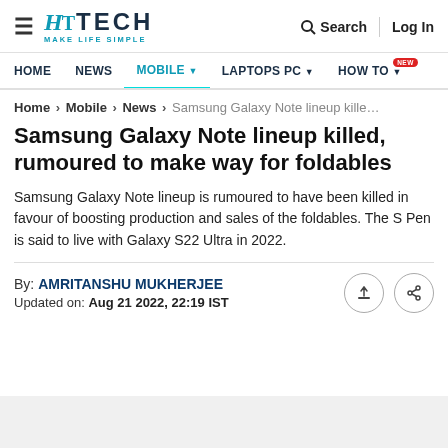HT TECH MAKE LIFE SIMPLE | Search | Log In
HOME  NEWS  MOBILE  LAPTOPS PC  HOW TO NEW
Home > Mobile > News > Samsung Galaxy Note lineup kille…
Samsung Galaxy Note lineup killed, rumoured to make way for foldables
Samsung Galaxy Note lineup is rumoured to have been killed in favour of boosting production and sales of the foldables. The S Pen is said to live with Galaxy S22 Ultra in 2022.
By: AMRITANSHU MUKHERJEE
Updated on: Aug 21 2022, 22:19 IST